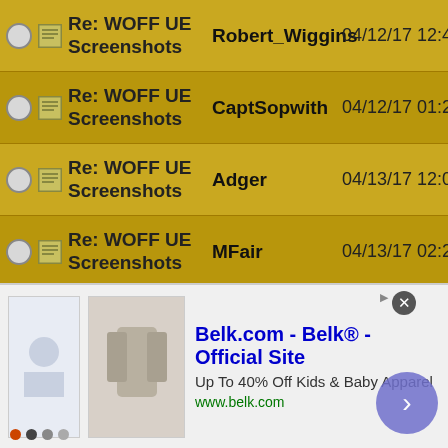Re: WOFF UE Screenshots | Robert_Wiggins | 04/12/17 12:44 P
Re: WOFF UE Screenshots | CaptSopwith | 04/12/17 01:27 P
Re: WOFF UE Screenshots | Adger | 04/13/17 12:03 A
Re: WOFF UE Screenshots | MFair | 04/13/17 02:25 P
Re: WOFF UE Screenshots | Banjoman | 04/13/17 03:06 P
Re: WOFF UE Screenshots | MFair | 04/13/17 06:26 P
Re: WOFF UE Screenshots | Banjoman | 04/13/17 07:06 P
Re: WOFF UE Screenshots | Adger | 04/19/17 01:25 A
Re: WOFF UE Screenshots | Blade_Meister | 04/19/17 04:33 A
Re: WOFF UE Screenshots | Adger | 04/19/17 11:14 A
Re: WOFF UE Screenshots | ArisFuser | 04/19/17 12:48 P
[Figure (screenshot): Advertisement banner for Belk.com - Belk Official Site, Up To 40% Off Kids & Baby Apparel, www.belk.com]